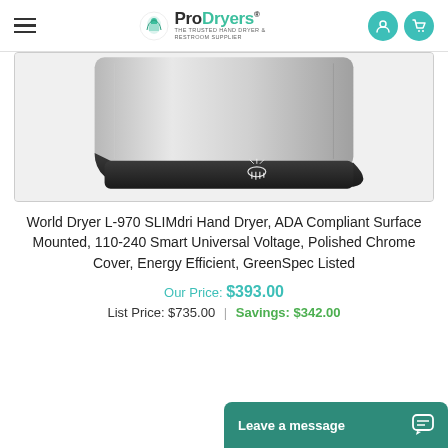ProDryers — THE TRUSTED HAND DRYER & RESTROOM SUPPLIER
[Figure (photo): Product photo of the World Dryer L-970 SLIMdri Hand Dryer — a sleek, silver/chrome surface-mounted hand dryer with a black base, shown at a slight angle. A hand dryer icon is visible on the black base.]
World Dryer L-970 SLIMdri Hand Dryer, ADA Compliant Surface Mounted, 110-240 Smart Universal Voltage, Polished Chrome Cover, Energy Efficient, GreenSpec Listed
Our Price: $393.00
List Price: $735.00  |  Savings: $342.00
Leave a message